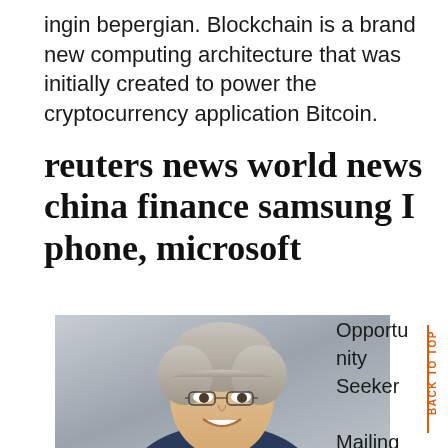ingin bepergian. Blockchain is a brand new computing architecture that was initially created to power the cryptocurrency application Bitcoin.
reuters news world news china finance samsung I phone, microsoft
[Figure (photo): Portrait photo of a smiling middle-aged man with gray hair and glasses, photographed outdoors with a light blurred background.]
Opportunity Seeker Mailing Lists assist businesses find